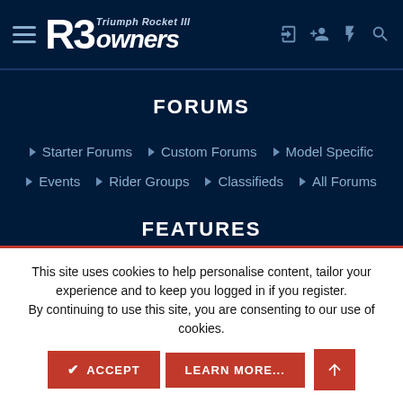R3 Triumph Rocket III owners
FORUMS
Starter Forums
Custom Forums
Model Specific
Events
Rider Groups
Classifieds
All Forums
FEATURES
This site uses cookies to help personalise content, tailor your experience and to keep you logged in if you register.
By continuing to use this site, you are consenting to our use of cookies.